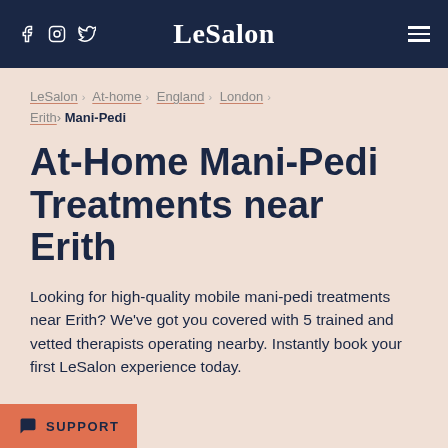LeSalon
LeSalon › At-home › England › London › Erith › Mani-Pedi
At-Home Mani-Pedi Treatments near Erith
Looking for high-quality mobile mani-pedi treatments near Erith? We've got you covered with 5 trained and vetted therapists operating nearby. Instantly book your first LeSalon experience today.
SUPPORT